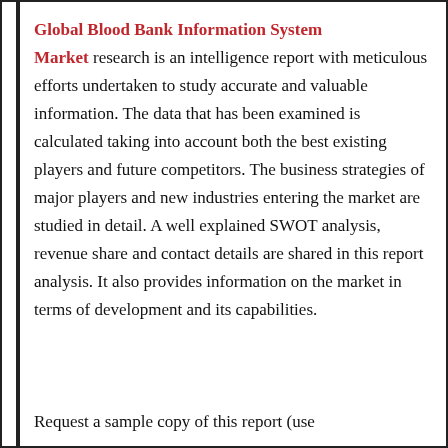Global Blood Bank Information System Market research is an intelligence report with meticulous efforts undertaken to study accurate and valuable information. The data that has been examined is calculated taking into account both the best existing players and future competitors. The business strategies of major players and new industries entering the market are studied in detail. A well explained SWOT analysis, revenue share and contact details are shared in this report analysis. It also provides information on the market in terms of development and its capabilities.
Request a sample copy of this report (use